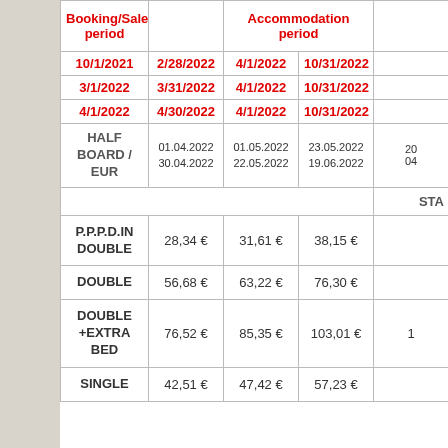| Booking/Sale period |  | Accommodation period |  |  |
| --- | --- | --- | --- | --- |
| 10/1/2021 | 2/28/2022 | 4/1/2022 | 10/31/2022 |  |
| 3/1/2022 | 3/31/2022 | 4/1/2022 | 10/31/2022 |  |
| 4/1/2022 | 4/30/2022 | 4/1/2022 | 10/31/2022 |  |
| HALF BOARD / EUR | 01.04.2022
30.04.2022 | 01.05.2022
22.05.2022 | 23.05.2022
19.06.2022 | 20
04 |
|  |  |  |  | STA |
| P.P.P.D.IN DOUBLE | 28,34 € | 31,61 € | 38,15 € |  |
| DOUBLE | 56,68 € | 63,22 € | 76,30 € |  |
| DOUBLE +EXTRA BED | 76,52 € | 85,35 € | 103,01 € | 1 |
| SINGLE | 42,51 € | 47,42 € | 57,23 € |  |